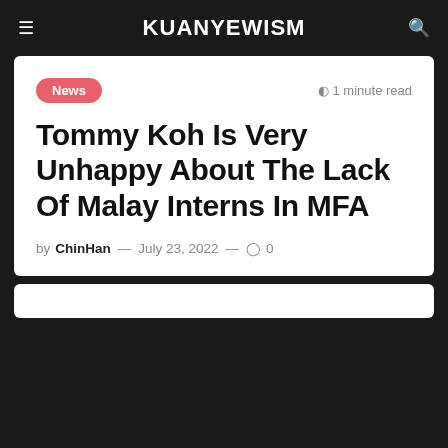KUANYEWISM
News
1 minute read
Tommy Koh Is Very Unhappy About The Lack Of Malay Interns In MFA
by ChinHan — July 23, 2022 — 0